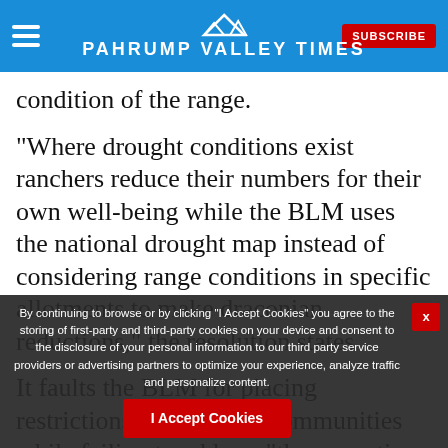Pahrump Valley Times
condition of the range.
“Where drought conditions exist ranchers reduce their numbers for their own well-being while the BLM uses the national drought map instead of considering range conditions in specific allotments to make draconian reductions,” the resolution states
It faults the BLM for placing restrictions on ranching communities while failing to address “the ex…ations of feral